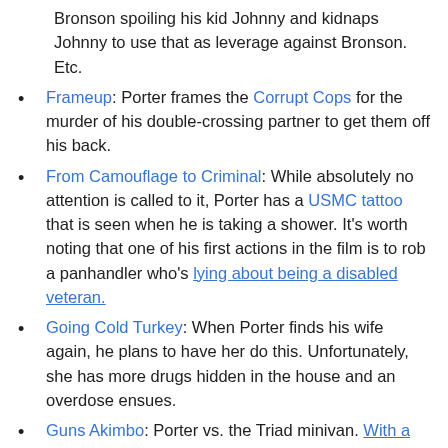Bronson spoiling his kid Johnny and kidnaps Johnny to use that as leverage against Bronson. Etc.
Frameup: Porter frames the Corrupt Cops for the murder of his double-crossing partner to get them off his back.
From Camouflage to Criminal: While absolutely no attention is called to it, Porter has a USMC tattoo that is seen when he is taking a shower. It's worth noting that one of his first actions in the film is to rob a panhandler who's lying about being a disabled veteran.
Going Cold Turkey: When Porter finds his wife again, he plans to have her do this. Unfortunately, she has more drugs hidden in the house and an overdose ensues.
Guns Akimbo: Porter vs. the Triad minivan. With a revolver in one of his hands.
Has a Type: Looking at Rosie and Porter's wife, it's pretty clear that Porter prefers slim blondes with some moxie to them.
High-Class Call Girl: